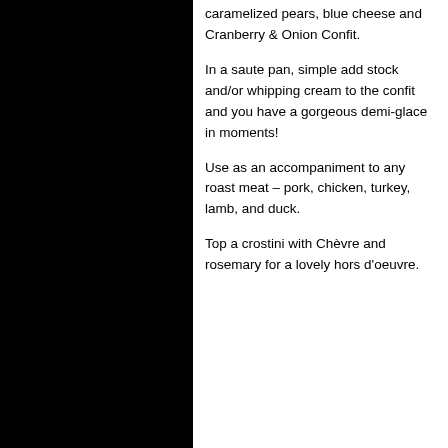caramelized pears, blue cheese and Cranberry & Onion Confit.
In a saute pan, simple add stock and/or whipping cream to the confit and you have a gorgeous demi-glace in moments!
Use as an accompaniment to any roast meat – pork, chicken, turkey, lamb, and duck.
Top a crostini with Chèvre and rosemary for a lovely hors d'oeuvre.